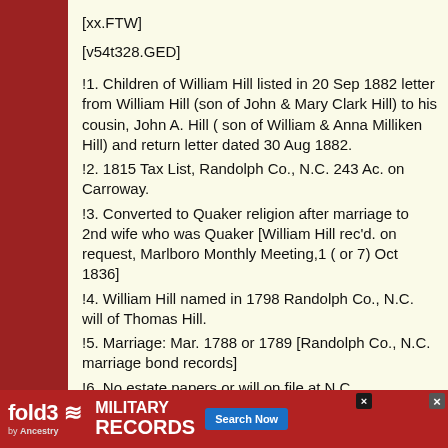[xx.FTW]
[v54t328.GED]
!1. Children of William Hill listed in 20 Sep 1882 letter from William Hill (son of John & Mary Clark Hill) to his cousin, John A. Hill ( son of William & Anna Milliken Hill) and return letter dated 30 Aug 1882.
!2. 1815 Tax List, Randolph Co., N.C. 243 Ac. on Carroway.
!3. Converted to Quaker religion after marriage to 2nd wife who was Quaker [William Hill rec'd. on request, Marlboro Monthly Meeting,1 ( or 7) Oct 1836]
!4. William Hill named in 1798 Randolph Co., N.C. will of Thomas Hill.
!5. Marriage: Mar. 1788 or 1789 [Randolph Co., N.C. marriage bond records]
!6. No estate papers or will on file at N.C.
[Figure (other): Fold3 by Ancestry advertisement banner for Military Records with Search Now button and soldier photo]